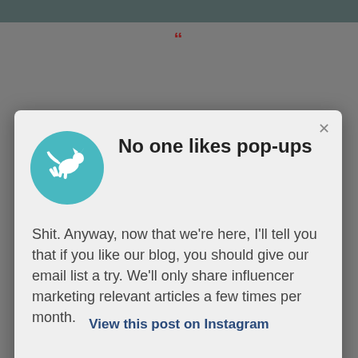[Figure (screenshot): Screenshot of a blog popup modal with teal circular logo icon of a jumping animal, title 'No one likes pop-ups', body text about email list subscription, and a blue Subscribe now button. Background is grey with a darker top bar and a quote mark visible. Below the modal is a link 'View this post on Instagram'.]
No one likes pop-ups
Shit. Anyway, now that we're here, I'll tell you that if you like our blog, you should give our email list a try. We'll only share influencer marketing relevant articles a few times per month.
Subscribe now
View this post on Instagram